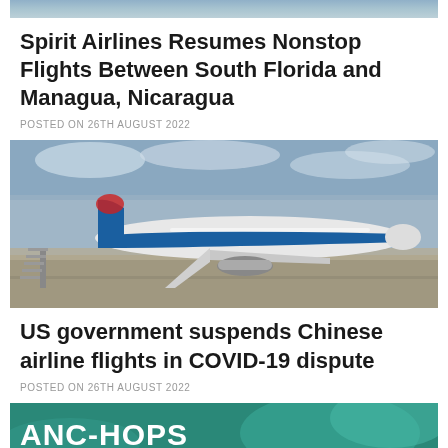[Figure (photo): Top of a photo (cropped) — appears to be sky/clouds, top portion only visible]
Spirit Airlines Resumes Nonstop Flights Between South Florida and Managua, Nicaragua
POSTED ON 26TH AUGUST 2022
[Figure (photo): A China Southern Airlines Airbus aircraft parked on tarmac at an airport, with cloudy sky in background and airport infrastructure visible]
US government suspends Chinese airline flights in COVID-19 dispute
POSTED ON 26TH AUGUST 2022
[Figure (photo): Bottom cropped image showing text 'ANC-HOPS' in white bold letters on a teal/green background that appears to be a map]